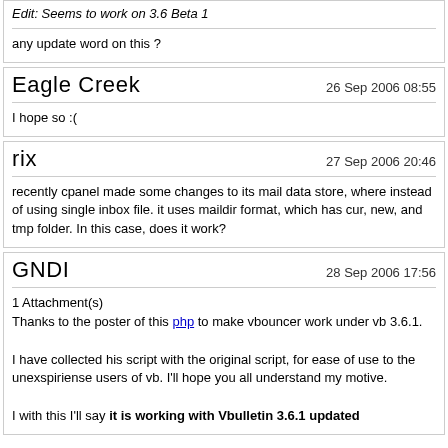Edit: Seems to work on 3.6 Beta 1
any update word on this ?
Eagle Creek
26 Sep 2006 08:55
I hope so :(
rix
27 Sep 2006 20:46
recently cpanel made some changes to its mail data store, where instead of using single inbox file. it uses maildir format, which has cur, new, and tmp folder. In this case, does it work?
GNDI
28 Sep 2006 17:56
1 Attachment(s)
Thanks to the poster of this php to make vbouncer work under vb 3.6.1.

I have collected his script with the original script, for ease of use to the unexspiriense users of vb. I'll hope you all understand my motive.

I with this I'll say it is working with Vbulletin 3.6.1 updated